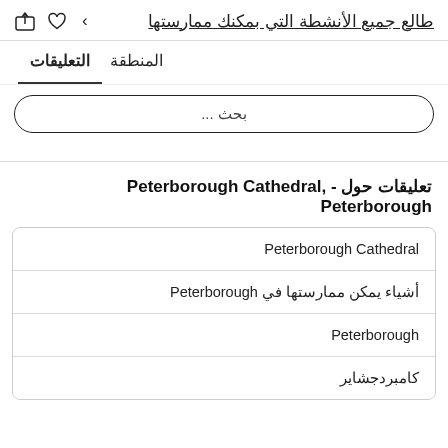طالع جميع الأنشطة التي بمكنك ممارستها
المنطقة   التعليقات
...
تعليقات حول - Peterborough Cathedral, Peterborough
Peterborough Cathedral
أشياء يمكن ممارستها في Peterborough
Peterborough
كامبردجشاير